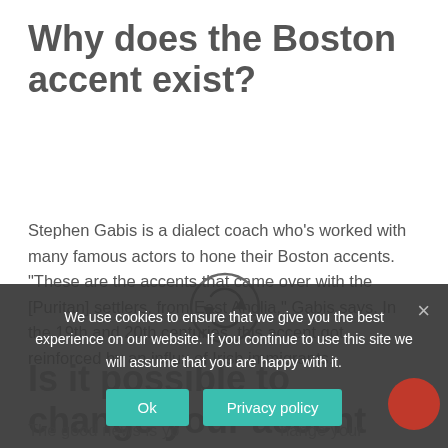Why does the Boston accent exist?
Stephen Gabis is a dialect coach who's worked with many famous actors to hone their Boston accents. “These are the accents that came over with the [Puritan] settlers, from East Anglia,” Gabis says. In the 19th and 20th centuries, this accent got reinforced by an influx of Irish immigrants.
Is it possible to change your accent permanently?
The good news is you can change your accent...
We use cookies to ensure that we give you the best experience on our website. If you continue to use this site we will assume that you are happy with it.